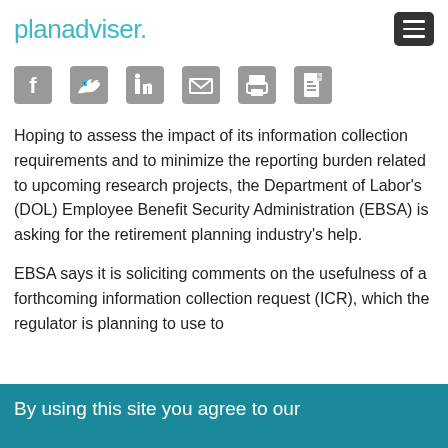planadviser.
[Figure (other): Social media sharing icons: Facebook, Twitter, LinkedIn, Email, Print, Save/Document]
Hoping to assess the impact of its information collection requirements and to minimize the reporting burden related to upcoming research projects, the Department of Labor's (DOL) Employee Benefit Security Administration (EBSA) is asking for the retirement planning industry's help.
EBSA says it is soliciting comments on the usefulness of a forthcoming information collection request (ICR), which the regulator is planning to use to
By using this site you agree to our